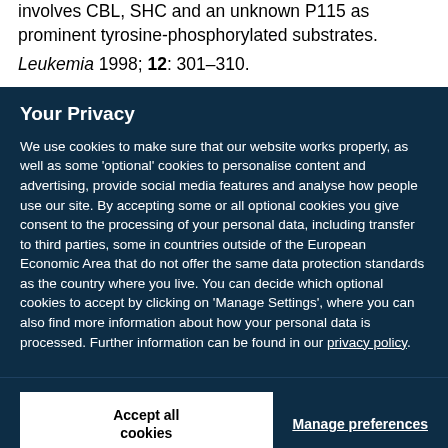involves CBL, SHC and an unknown P115 as prominent tyrosine-phosphorylated substrates.
Leukemia 1998; 12: 301–310.
Your Privacy
We use cookies to make sure that our website works properly, as well as some 'optional' cookies to personalise content and advertising, provide social media features and analyse how people use our site. By accepting some or all optional cookies you give consent to the processing of your personal data, including transfer to third parties, some in countries outside of the European Economic Area that do not offer the same data protection standards as the country where you live. You can decide which optional cookies to accept by clicking on 'Manage Settings', where you can also find more information about how your personal data is processed. Further information can be found in our privacy policy.
Accept all cookies
Manage preferences